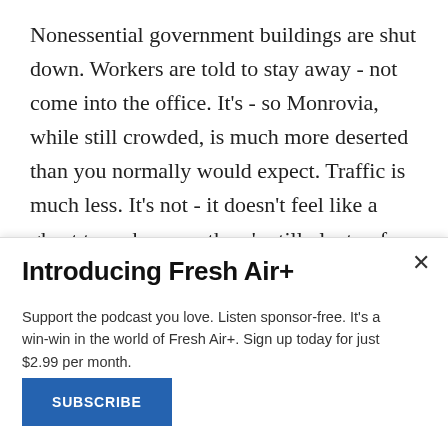Nonessential government buildings are shut down. Workers are told to stay away - not come into the office. It's - so Monrovia, while still crowded, is much more deserted than you normally would expect. Traffic is much less. It's not - it doesn't feel like a ghost town because there's still plenty of people about and going on about their business, but Monrovia's usually teeming. And that part, you know, is definitely much more muted.
GROSS: Helene Cooper will be back in the second half of
Introducing Fresh Air+
Support the podcast you love. Listen sponsor-free. It's a win-win in the world of Fresh Air+. Sign up today for just $2.99 per month.
SUBSCRIBE